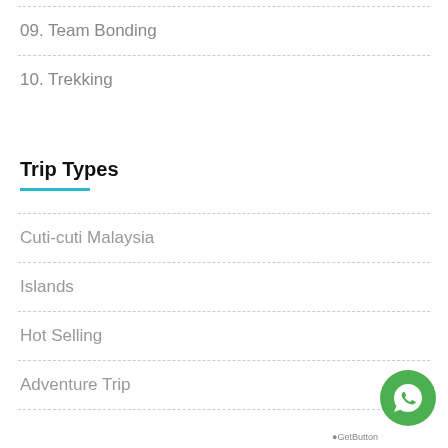09. Team Bonding
10. Trekking
Trip Types
Cuti-cuti Malaysia
Islands
Hot Selling
Adventure Trip
[Figure (logo): WhatsApp green circular button with phone/chat icon]